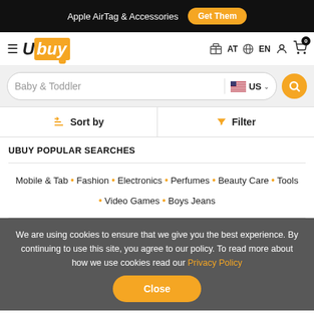Apple AirTag & Accessories  Get Them
[Figure (logo): Ubuy logo with hamburger menu, AT country selector, EN language selector, user icon, and cart icon with badge 0]
Baby & Toddler  US
Sort by   Filter
UBUY POPULAR SEARCHES
Mobile & Tab • Fashion • Electronics • Perfumes • Beauty Care • Tools • Video Games • Boys Jeans
We are using cookies to ensure that we give you the best experience. By continuing to use this site, you agree to our policy. To read more about how we use cookies read our Privacy Policy  Close